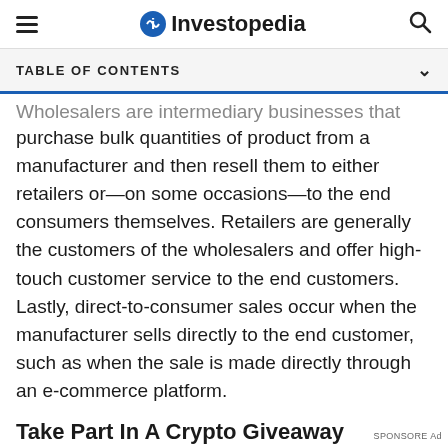Investopedia
TABLE OF CONTENTS
Wholesalers are intermediary businesses that purchase bulk quantities of product from a manufacturer and then resell them to either retailers or—on some occasions—to the end consumers themselves. Retailers are generally the customers of the wholesalers and offer high-touch customer service to the end customers. Lastly, direct-to-consumer sales occur when the manufacturer sells directly to the end customer, such as when the sale is made directly through an e-commerce platform.
Take Part In A Crypto Giveaway
[Figure (infographic): Dotdash Meredith advertisement banner: dark background with text 'We help people find answers, solve problems and get inspired.' with Dotdash Meredith logo]